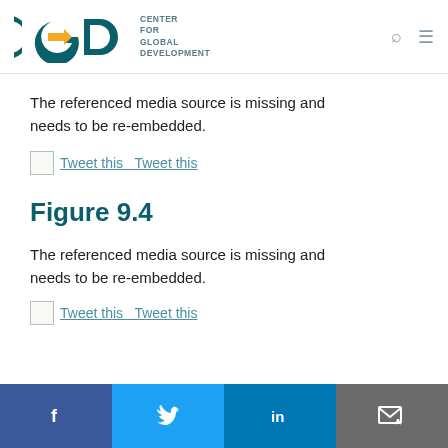Center for Global Development
The referenced media source is missing and needs to be re-embedded.
Tweet this  Tweet this
Figure 9.4
The referenced media source is missing and needs to be re-embedded.
Tweet this  Tweet this
Facebook  Twitter  LinkedIn  Email